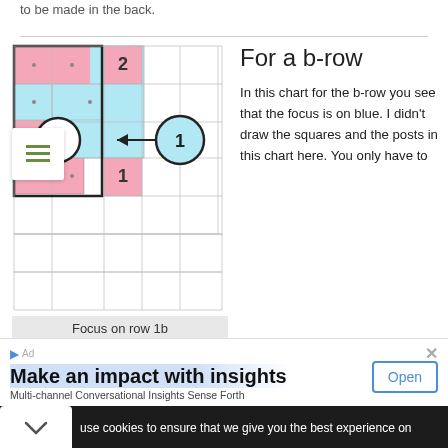to be made in the back.
[Figure (illustration): Grid chart showing focus on row 1b, with pink and light blue cells, circles labeled 1, and an arrow pointing left. A hamburger menu icon is overlaid on the left.]
Focus on row 1b
For a b-row
In this chart for the b-row you see that the focus is on blue. I didn't draw the squares and the posts in this chart here. You only have to look at the row where the 1 in blue is standing in front. This
use cookies to ensure that we give you the best experience on
Make an impact with insights
Multi-channel Conversational Insights Sense Forth